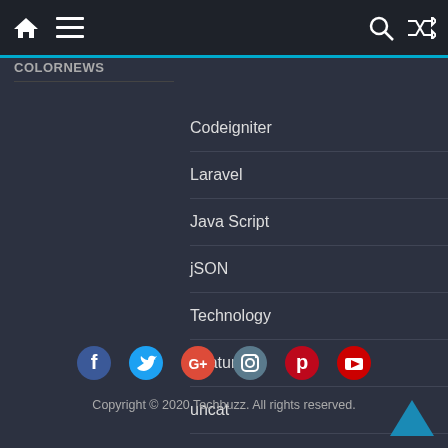Navigation bar with home, menu, search, and shuffle icons
ColorNews
Codeigniter
Laravel
Java Script
jSON
Technology
Featured
uncat
[Figure (infographic): Social media icons row: Facebook (blue), Twitter (blue), Google+ (red), Instagram (gray/teal), Pinterest (red), YouTube (red)]
Copyright © 2020 Techbuzz. All rights reserved.